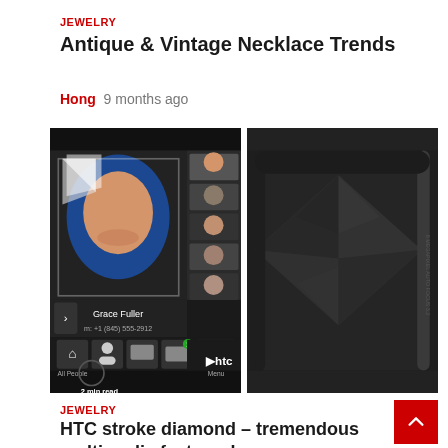JEWELRY
Antique & Vintage Necklace Trends
Hong  9 months ago
[Figure (photo): Two HTC smartphones side by side: left showing a contacts screen with Grace Fuller's photo and details (m: +1 (845) 555-2912), and right showing the back of a dark diamond-pattern HTC phone.]
JEWELRY
HTC stroke diamond – tremendous multimedia features!